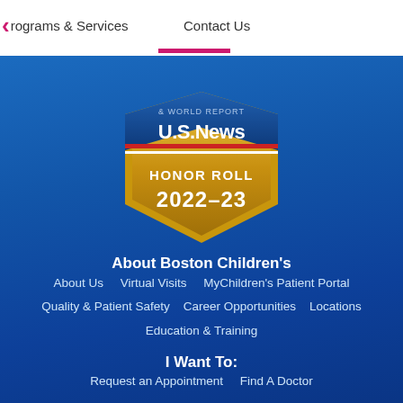rograms & Services    Contact Us
[Figure (logo): U.S. News & World Report Honor Roll 2022-23 badge/shield in gold and blue colors on blue background]
About Boston Children's
About Us    Virtual Visits    MyChildren's Patient Portal
Quality & Patient Safety    Career Opportunities    Locations
Education & Training
I Want To:
Request an Appointment    Find A Doctor